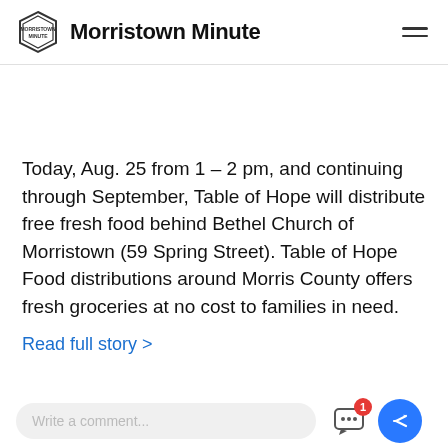Morristown Minute
Today, Aug. 25 from 1 – 2 pm, and continuing through September, Table of Hope will distribute free fresh food behind Bethel Church of Morristown (59 Spring Street). Table of Hope Food distributions around Morris County offers fresh groceries at no cost to families in need.
Read full story >